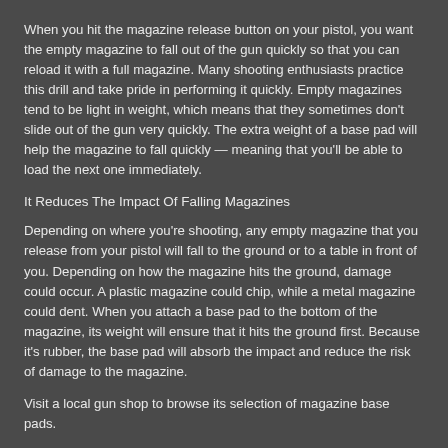When you hit the magazine release button on your pistol, you want the empty magazine to fall out of the gun quickly so that you can reload it with a full magazine. Many shooting enthusiasts practice this drill and take pride in performing it quickly. Empty magazines tend to be light in weight, which means that they sometimes don't slide out of the gun very quickly. The extra weight of a base pad will help the magazine to fall quickly — meaning that you'll be able to load the next one immediately.
It Reduces The Impact Of Falling Magazines
Depending on where you're shooting, any empty magazine that you release from your pistol will fall to the ground or to a table in front of you. Depending on how the magazine hits the ground, damage could occur. A plastic magazine could chip, while a metal magazine could dent. When you attach a base pad to the bottom of the magazine, its weight will ensure that it hits the ground first. Because it's rubber, the base pad will absorb the impact and reduce the risk of damage to the magazine.
Visit a local gun shop to browse its selection of magazine base pads.